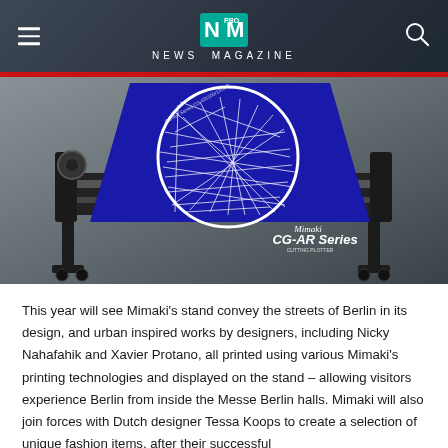NEWS MAGAZINE
[Figure (photo): Mimaki CG-AR Series vinyl cutter plotter machine with a blue vinyl roll showing a circular white street map design of Berlin streets. The machine is black with a stand and casters. The Mimaki CG-AR Series branding is visible on the blue vinyl.]
This year will see Mimaki's stand convey the streets of Berlin in its design, and urban inspired works by designers, including Nicky Nahafahik and Xavier Protano, all printed using various Mimaki's printing technologies and displayed on the stand – allowing visitors experience Berlin from inside the Messe Berlin halls. Mimaki will also join forces with Dutch designer Tessa Koops to create a selection of unique fashion items, after their successful